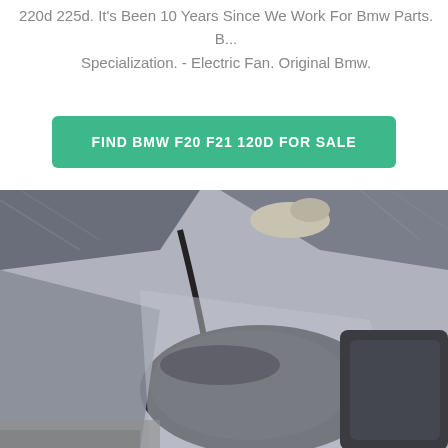220d 225d. It's Been 10 Years Since We Work For Bmw Parts. Bmw Specialization. - Electric Fan. Original Bmw.
[Figure (other): Button: FIND BMW F20 F21 120D FOR SALE on a teal/green rounded rectangle]
[Figure (photo): Close-up photo of a BMW car part or chassis component, showing dark plastic/metal bodywork parts with fabric cover visible at top, on a concrete surface.]